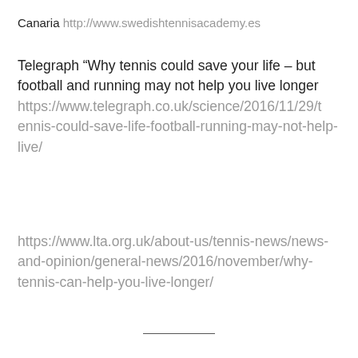Canaria http://www.swedishtennisacademy.es
Telegraph “Why tennis could save your life – but football and running may not help you live longer https://www.telegraph.co.uk/science/2016/11/29/tennis-could-save-life-football-running-may-not-help-live/
https://www.lta.org.uk/about-us/tennis-news/news-and-opinion/general-news/2016/november/why-tennis-can-help-you-live-longer/